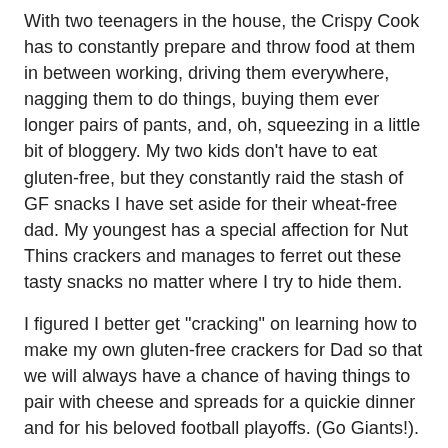With two teenagers in the house, the Crispy Cook has to constantly prepare and throw food at them in between working, driving them everywhere, nagging them to do things, buying them ever longer pairs of pants, and, oh, squeezing in a little bit of bloggery. My two kids don't have to eat gluten-free, but they constantly raid the stash of GF snacks I have set aside for their wheat-free dad. My youngest has a special affection for Nut Thins crackers and manages to ferret out these tasty snacks no matter where I try to hide them.
I figured I better get "cracking" on learning how to make my own gluten-free crackers for Dad so that we will always have a chance of having things to pair with cheese and spreads for a quickie dinner and for his beloved football playoffs. (Go Giants!). These crackers would be great to take to parties and on trips, and would absolutely make an easy and thoughtful homemade gift for a gluten-free friend or loved one.
The GF cracker recipe over at Lauren's Daring to Thrive was